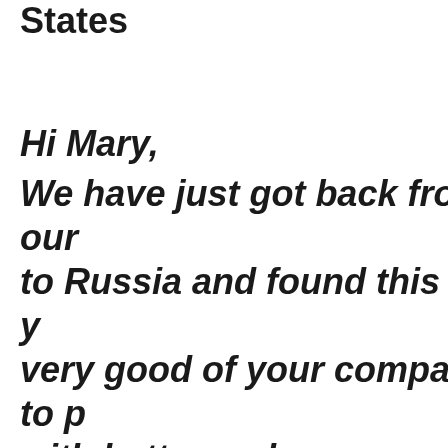States
Hi Mary,
We have just got back from our to Russia and found this from y very good of your company to p with better and more expensive Prince Igor - we really enjoyed t evening and would happily reco your ticket company to others.